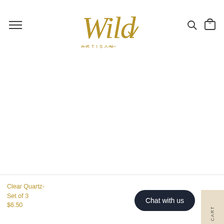[Figure (logo): Wild Artisan script logo in gold/tan color with 'ARTISAN' text beneath in small caps]
Clear Quartz- Set of 3
$6.50
Chat with us
CART